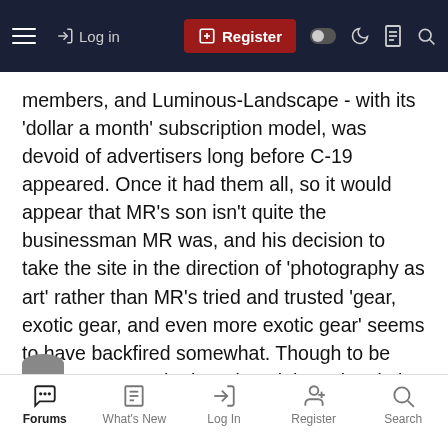Log in | Register
members, and Luminous-Landscape - with its 'dollar a month' subscription model, was devoid of advertisers long before C-19 appeared. Once it had them all, so it would appear that MR's son isn't quite the businessman MR was, and his decision to take the site in the direction of 'photography as art' rather than MR's tried and trusted 'gear, exotic gear, and even more exotic gear' seems to have backfired somewhat. Though to be fair, it was MR who introduced the subscription model, so even that formula was probably due for an overhaul. Still works for DPReview mind you, but then of course that site's now owned by Amazon. Now there's an idea ...
Jim
Forums | What's New | Log In | Register | Search